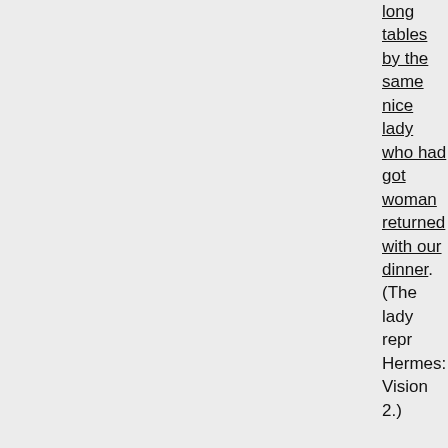long tables by the same nice lady who had got... woman returned with our dinner. (The lady repr... Hermes: Vision 2.)
The Shepherd of Hermes: Vision 2: But a aged lady, whom also I had seen last yea... "Canst thou report these things to the ele... much; but give me the little book, that I m... to me." I took it, and retiring to a certain... make out the syllables. When then I had... snatched out of my hand; but by whom I
Now, brethren, a revelation was made u... said to me, "Whom thinkest thou the age... say, "The Sibyl" "Thou art wrong," saith h... saith he. I said unto him, "Wherefore ther... before all things; therefore is she aged; a
And afterwards I saw a vision in my hous... given the book to the elders. I said that I... have words to add. When then I shall ha... means to all the elect.)
I was a little confused when I looked down at m... the meat itself was alive and wriggling on my pl... goes into us and re-creates Jesus' nature in ou...